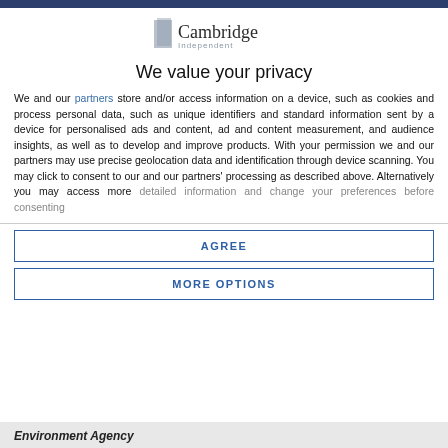[Figure (logo): Cambridge Independent logo with grey rectangle icon and text 'Cambridge Independent']
We value your privacy
We and our partners store and/or access information on a device, such as cookies and process personal data, such as unique identifiers and standard information sent by a device for personalised ads and content, ad and content measurement, and audience insights, as well as to develop and improve products. With your permission we and our partners may use precise geolocation data and identification through device scanning. You may click to consent to our and our partners' processing as described above. Alternatively you may access more detailed information and change your preferences before consenting
AGREE
MORE OPTIONS
Environment Agency